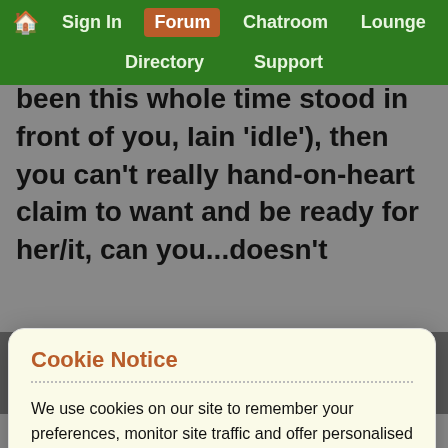🏠 Sign In | Forum | Chatroom | Lounge | Directory | Support
been this whole time stood in front of you, Iain 'idle'), then you can't really hand-on-heart claim to want and be ready for her/it, can you...doesn't
Cookie Notice
We use cookies on our site to remember your preferences, monitor site traffic and offer personalised ads. We may share information about your use of our site with trusted advertising and analytics partners. By clicking 'Accept and continue' you consent to our use of cookies in accordance with your preferences which can be reviewed / updated at any time via our Privacy Policy.
Accept and continue